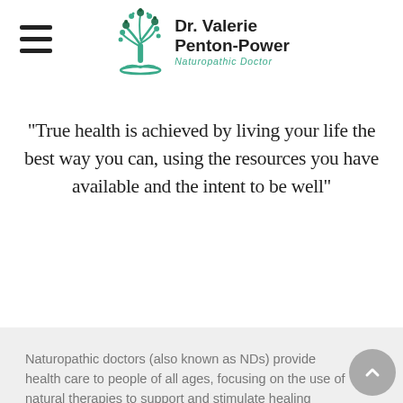Dr. Valerie Penton-Power — Naturopathic Doctor
"True health is achieved by living your life the best way you can, using the resources you have available and the intent to be well"
Naturopathic doctors (also known as NDs) provide health care to people of all ages, focusing on the use of natural therapies to support and stimulate healing processes